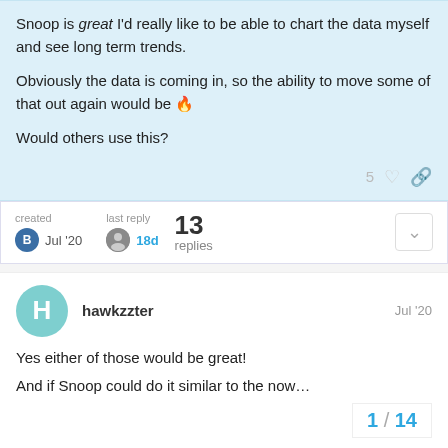Snoop is great I'd really like to be able to chart the data myself and see long term trends.

Obviously the data is coming in, so the ability to move some of that out again would be 🔥

Would others use this?
created
B Jul '20
last reply
18d
13 replies
hawkzzter
Jul '20
Yes either of those would be great!
And if Snoop could do it similar to the now…
1 / 14